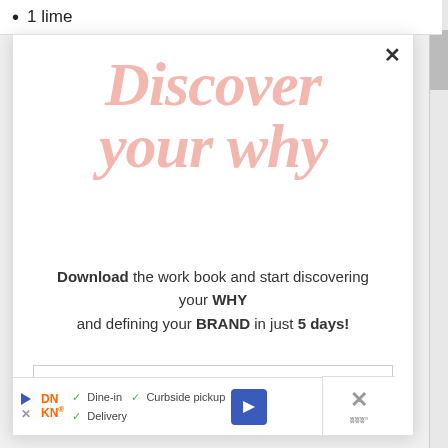1 lime
Discover your why
Download the work book and start discovering your WHY and defining your BRAND in just 5 days!
Email address
[Figure (screenshot): Ad banner: Dunkin Donuts ad with Dine-in, Delivery, Curbside pickup options and a blue navigation arrow icon]
Dine-in  Curbside pickup
Delivery